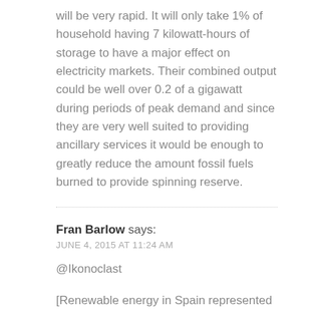will be very rapid. It will only take 1% of household having 7 kilowatt-hours of storage to have a major effect on electricity markets. Their combined output could be well over 0.2 of a gigawatt during periods of peak demand and since they are very well suited to providing ancillary services it would be enough to greatly reduce the amount fossil fuels burned to provide spinning reserve.
Fran Barlow says:
JUNE 4, 2015 AT 11:24 AM

@Ikonoclast

[Renewable energy in Spain represented 42.8% of total energy generation in 2014. Overall 27.4% of